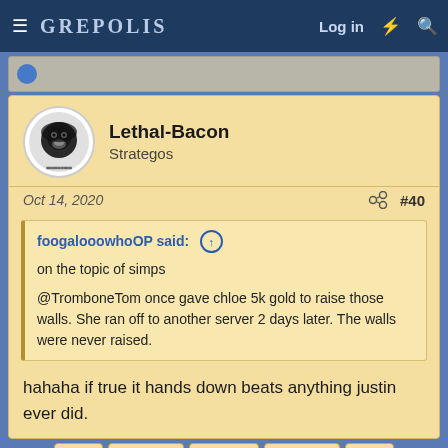GREPOLIS — Log in
Lethal-Bacon
Strategos
Oct 14, 2020  #40
foogalooowhoOP said:
on the topic of simps

@TromboneTom once gave chloe 5k gold to raise those walls. She ran off to another server 2 days later. The walls were never raised.
hahaha if true it hands down beats anything justin ever did.
◄◄  ◄ Prev  2 of 3  Next ►  ►►
You must log in or register to reply here.